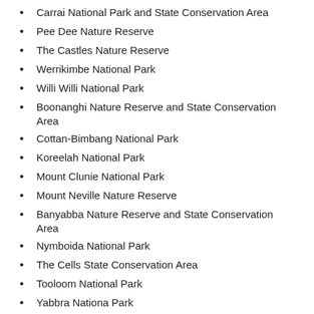Carrai National Park and State Conservation Area
Pee Dee Nature Reserve
The Castles Nature Reserve
Werrikimbe National Park
Willi Willi National Park
Boonanghi Nature Reserve and State Conservation Area
Cottan-Bimbang National Park
Koreelah National Park
Mount Clunie National Park
Mount Neville Nature Reserve
Banyabba Nature Reserve and State Conservation Area
Nymboida National Park
The Cells State Conservation Area
Tooloom National Park
Yabbra Nationa Park
Aerial baiting is scheduled for Monday 29 August to Friday 2 September 2022.
The operation will use 1080 (sodium fluoroacetate) poison for the control of wild dogs and foxes.
The program is designed to minimise predator impacts on wildlife, especially threatened species, and to minimise impact